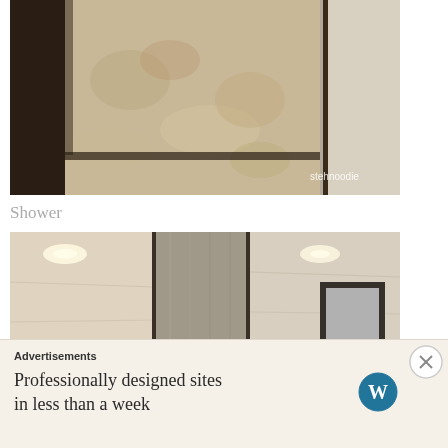[Figure (photo): Close-up photo of a marble/stone shower floor with dark border trim and a glass door frame visible. Watermark 'stehnoodie' in lower right corner.]
Shower
[Figure (photo): Interior photo of a luxury shower enclosure with marble/travertine walls, a central glass and metal divider panel, and recessed lighting. A small recessed niche is visible on the right wall.]
Advertisements
Professionally designed sites in less than a week